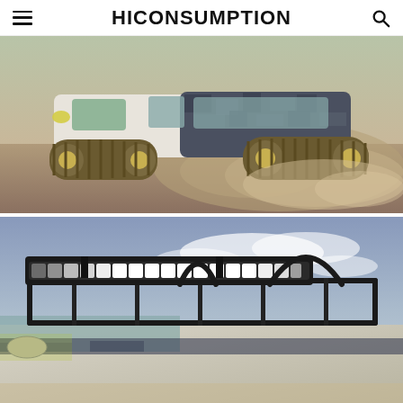HICONSUMPTION
[Figure (photo): SUV with tank-like tracks instead of wheels kicking up dust on a sandy terrain, white and camouflage pattern paint job]
[Figure (photo): Close-up of SUV roof rack with LED light bar mounted on top, vehicle has white and camouflage pattern paint]